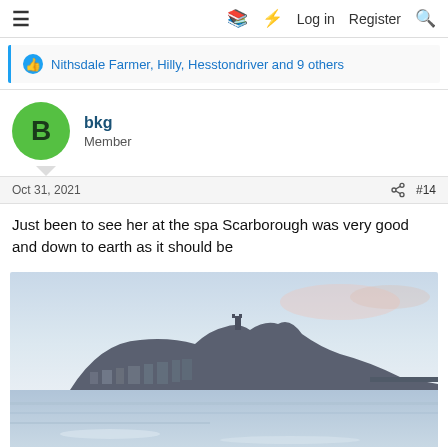≡  □ ⚡ Log in  Register 🔍
Nithsdale Farmer, Hilly, Hesstondriver and 9 others
bkg
Member
Oct 31, 2021  #14
Just been to see her at the spa Scarborough was very good and down to earth as it should be
[Figure (photo): Coastal view of Scarborough, showing the headland with buildings and a castle silhouette against a light pastel sky, with calm sea water in the foreground.]